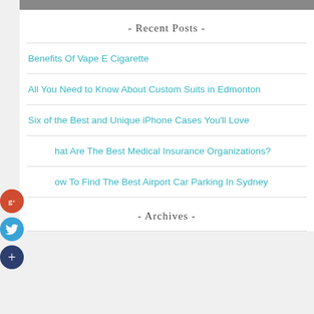[Figure (photo): Partial photo strip at top of page showing a person]
- Recent Posts -
Benefits Of Vape E Cigarette
All You Need to Know About Custom Suits in Edmonton
Six of the Best and Unique iPhone Cases You'll Love
What Are The Best Medical Insurance Organizations?
How To Find The Best Airport Car Parking In Sydney
- Archives -